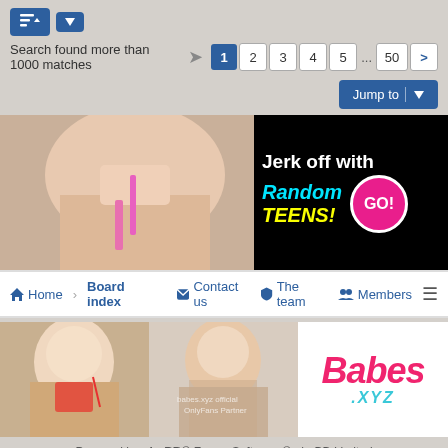Search found more than 1000 matches
Jump to
[Figure (screenshot): Explicit adult content image]
[Figure (advertisement): Jerk off with Random TEENS! GO! advertisement]
Home › Board index   Contact us   The team   Members
[Figure (photo): Blonde woman photo]
[Figure (photo): Brunette woman photo]
[Figure (logo): Babes.xyz logo]
Powered by phpBB® Forum Software © phpBB Limited
Style by Arty - phpBB 3.3 by MrGaby
Privacy | Terms